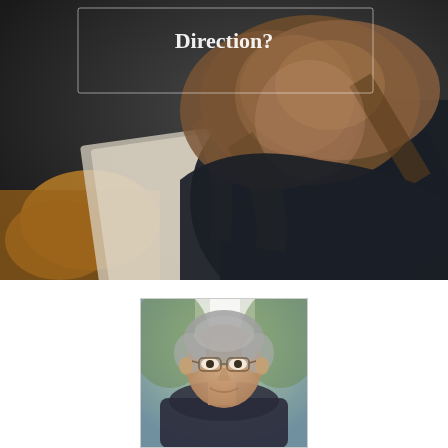[Figure (photo): A person with medium-length blonde/brown hair leaning over papers or a book, wearing a dark jacket and mustard/orange sweater, seen from behind/side. Dark moody background. The text 'Direction?' appears in white serif font in the upper center area with a faint rectangular border around it.]
[Figure (photo): Portrait photo of an older gentleman with gray hair and glasses, smiling gently, wearing a dark top. Blurred light/green background suggesting an outdoor or well-lit indoor setting.]